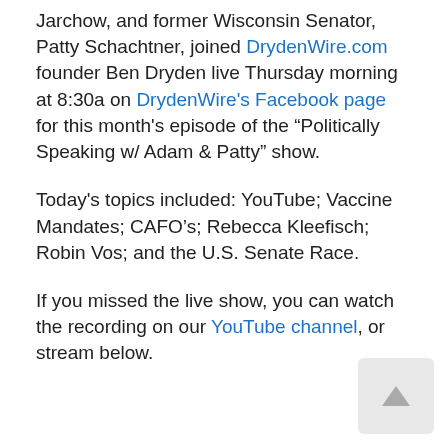Jarchow, and former Wisconsin Senator, Patty Schachtner, joined DrydenWire.com founder Ben Dryden live Thursday morning at 8:30a on DrydenWire's Facebook page for this month's episode of the “Politically Speaking w/ Adam & Patty” show.
Today's topics included: YouTube; Vaccine Mandates; CAFO’s; Rebecca Kleefisch; Robin Vos; and the U.S. Senate Race.
If you missed the live show, you can watch the recording on our YouTube channel, or stream below.